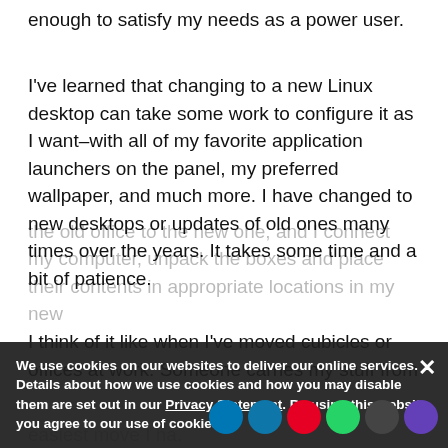enough to satisfy my needs as a power user.
I've learned that changing to a new Linux desktop can take some work to configure it as I want–with all of my favorite application launchers on the panel, my preferred wallpaper, and much more. I have changed to new desktops or updates of old ones many times over the years. It takes some time and a bit of patience.
I think of it like when I've moved cubicles or offices at work. Someone carries my stuff from the old office to the new one, and I connect my computer, unpack the boxes and place their contents in appropriate locations in my new...
easiest move I ha...
We use cookies on our websites to deliver our online services. Details about how we use cookies and how you may disable them are set out in our Privacy Statement. By using this website you agree to our use of cookies.